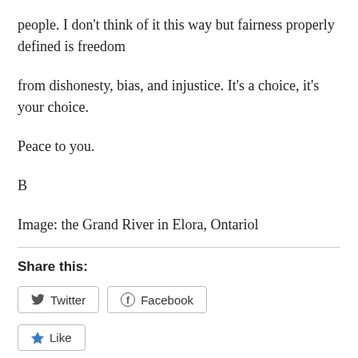people. I don't think of it this way but fairness properly defined is freedom
from dishonesty, bias, and injustice. It's a choice, it's your choice.
Peace to you.
B
Image: the Grand River in Elora, Ontariol
Share this:
Twitter  Facebook
Like
Be the first to like this.